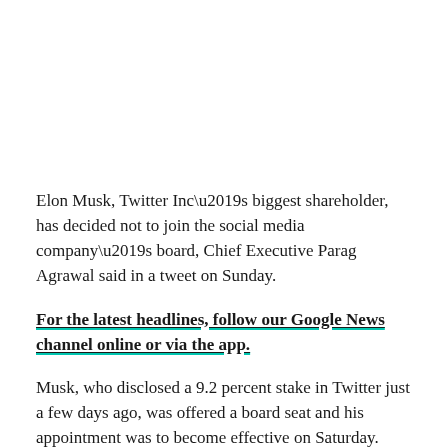Elon Musk, Twitter Inc’s biggest shareholder, has decided not to join the social media company’s board, Chief Executive Parag Agrawal said in a tweet on Sunday.
For the latest headlines, follow our Google News channel online or via the app.
Musk, who disclosed a 9.2 percent stake in Twitter just a few days ago, was offered a board seat and his appointment was to become effective on Saturday.